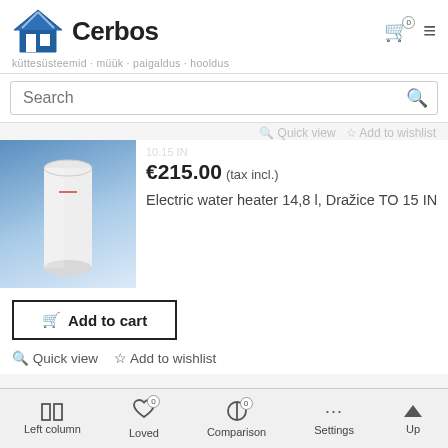[Figure (logo): Cerbos logo with blue house icon and text 'Cerbos']
küttesüsteemid · müük · paigaldus · hooldus
Search
Quick view  ☆ Add to wishlist
[Figure (photo): Electric water heater product image on blue gradient background]
€215.00  (tax incl.)
Electric water heater 14,8 l, Dražice TO 15 IN
🛒 Add to cart
🔍 Quick view  ☆ Add to wishlist
[Figure (photo): Next product thumbnail, gray house roof shape]
☎ +372 442 0222
Left column   Loved   Comparison   Settings   Up